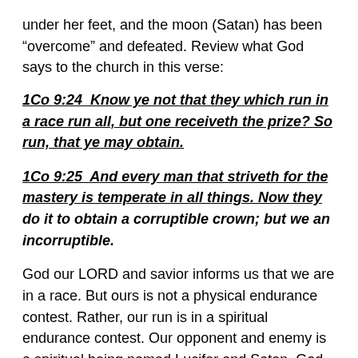under her feet, and the moon (Satan) has been “overcome” and defeated. Review what God says to the church in this verse:
1Co 9:24  Know ye not that they which run in a race run all, but one receiveth the prize? So run, that ye may obtain.
1Co 9:25  And every man that striveth for the mastery is temperate in all things. Now they do it to obtain a corruptible crown; but we an incorruptible.
God our LORD and savior informs us that we are in a race. But ours is not a physical endurance contest. Rather, our run is in a spiritual endurance contest. Our opponent and enemy is a spiritual being named Lucifer and Satan. God informs us in Revelation 12 we win this race. The